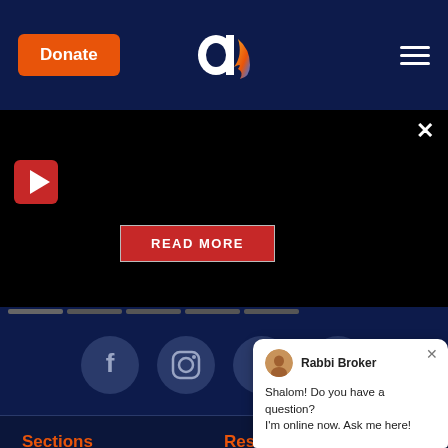Donate | Aish logo | Hamburger menu
[Figure (screenshot): Black video player area with play button and READ MORE button, with slider navigation dots]
[Figure (infographic): Social media icons row: Facebook, Instagram, Twitter, YouTube on dark navy background]
Sections
Spirituality
Israel
Family
Resources
Western
Holocau
Ask The Rabbi
Rabbi Broker — Shalom! Do you have a question? I'm online now. Ask me here!